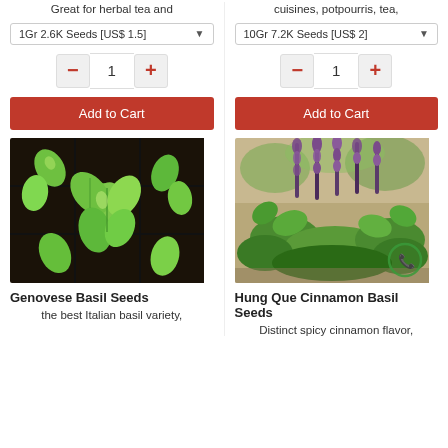Great for herbal tea and
cuisines, potpourris, tea,
1Gr 2.6K Seeds [US$ 1.5]
10Gr 7.2K Seeds [US$ 2]
1
1
Add to Cart
Add to Cart
[Figure (photo): Genovese basil seedlings in black plastic tray with dark soil, overhead view]
[Figure (photo): Hung Que Cinnamon Basil plant with purple flower spikes and green leaves in garden]
Genovese Basil Seeds
Hung Que Cinnamon Basil Seeds
the best Italian basil variety,
Distinct spicy cinnamon flavor,